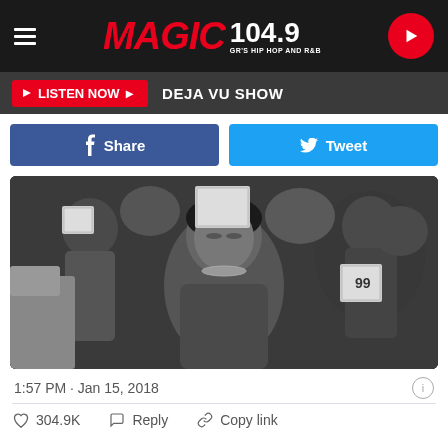MAGIC 104.9 GR'S HIP HOP AND R&B
LISTEN NOW ▶  DEJA VU SHOW
f  Share    Tweet
[Figure (photo): Black and white photograph of a crowd of people with heads bowed, a woman in the center foreground wearing a beaded necklace and a fitted blouse, eyes closed, surrounded by people wearing paper hats]
1:57 PM · Jan 15, 2018
304.9K   Reply   Copy link